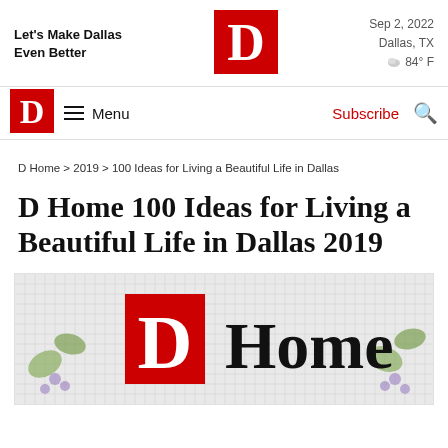Let's Make Dallas Even Better
[Figure (logo): D Magazine red square logo with white D letter, large, top center]
Sep 2, 2022
Dallas, TX
84° F
[Figure (logo): D Magazine red square logo with white D letter, small, nav bar left]
Menu
Subscribe
D Home > 2019 > 100 Ideas for Living a Beautiful Life in Dallas
D Home 100 Ideas for Living a Beautiful Life in Dallas 2019
[Figure (illustration): D Home magazine logo on mosaic tile background with grape vine decorations, red square D with white letter followed by Home in serif black text]